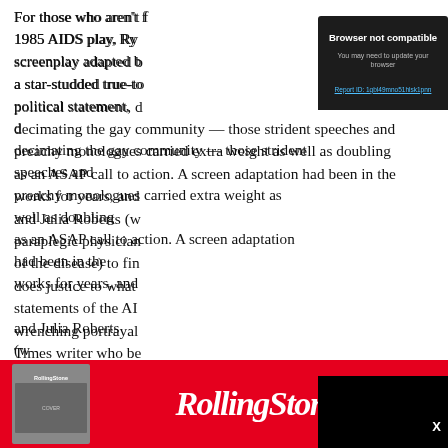For those who aren't familiar with the 1985 AIDS play, Ryan Murphy's screenplay adapted by the playwright — a star-studded true-to-life political statement, documenting AIDS decimating the gay community — those strident speeches and preachy monologues carried extra weight as well as doubling as an ASAP call to action. A screen adaptation had been in the works for years, and it took big Hollywood names like Murphy and Julia Roberts (who plays a paraplegic physician who is cured of the disease) to finally make a film that does justice to what remains one of the key statements of the AIDS crisis — and a gut-wrenching portrayal of a New York Times writer who be...
[Figure (screenshot): Browser not compatible modal overlay with dark background. Title: 'Browser not compatible'. Subtitle: 'You may need to update your browser'. Link: 'Report ID: 1gbl49mno51hlsk1pnn'. Black video player area below.]
[Figure (screenshot): Rolling Stone advertisement banner at the bottom of the page. Red background with Rolling Stone logo in white italic serif font, and a small magazine cover image on the left.]